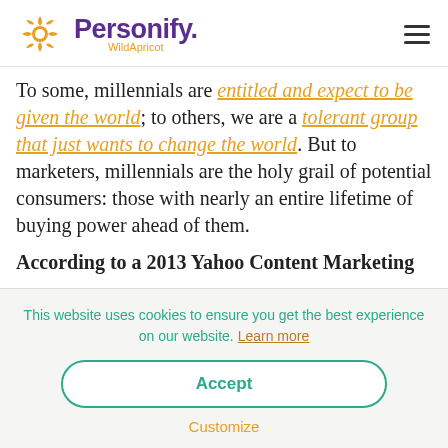[Figure (logo): Personify WildApricot logo with orange sun/flower icon and purple 'Personify' text with orange 'WildApricot' subtitle]
To some, millennials are entitled and expect to be given the world; to others, we are a tolerant group that just wants to change the world. But to marketers, millennials are the holy grail of potential consumers: those with nearly an entire lifetime of buying power ahead of them.
According to a 2013 Yahoo Content Marketing
This website uses cookies to ensure you get the best experience on our website. Learn more
Accept
Customize